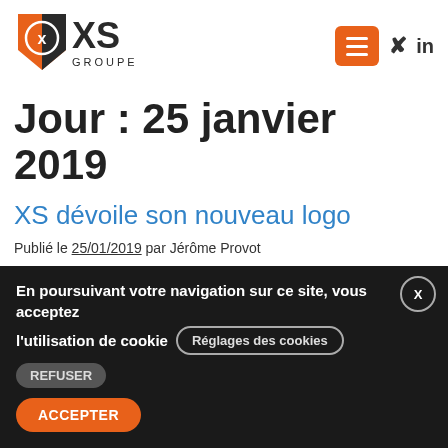[Figure (logo): XS Groupe logo with orange shield and XS text in dark]
Jour : 25 janvier 2019
XS dévoile son nouveau logo
Publié le 25/01/2019 par Jérôme Provot
En poursuivant votre navigation sur ce site, vous acceptez l'utilisation de cookie  Réglages des cookies  REFUSER  ACCEPTER